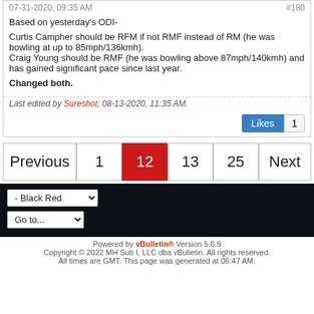07-31-2020, 09:35 AM   #180
Based on yesterday's ODI-

Curtis Campher should be RFM if not RMF instead of RM (he was bowling at up to 85mph/136kmh).
Craig Young should be RMF (he was bowling above 87mph/140kmh) and has gained significant pace since last year.

Changed both.
Last edited by Sureshot; 08-13-2020, 11:35 AM.
Likes  1
Previous  1  12  13  25  Next
- Black Red
Go to...
Powered by vBulletin® Version 5.6.9
Copyright © 2022 MH Sub I, LLC dba vBulletin. All rights reserved.
All times are GMT. This page was generated at 06:47 AM.